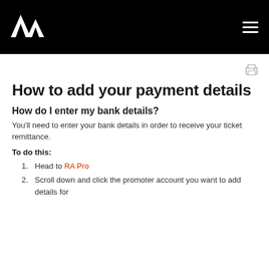RA Logo and navigation menu
How to add your payment details
How do I enter my bank details?
You'll need to enter your bank details in order to receive your ticket remittance.
To do this:
Head to RA Pro
Scroll down and click the promoter account you want to add details for